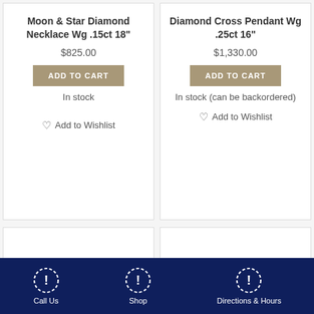Moon & Star Diamond Necklace Wg .15ct 18"
$825.00
ADD TO CART
In stock
Add to Wishlist
Diamond Cross Pendant Wg .25ct 16"
$1,330.00
ADD TO CART
In stock (can be backordered)
Add to Wishlist
Call Us | Shop | Directions & Hours